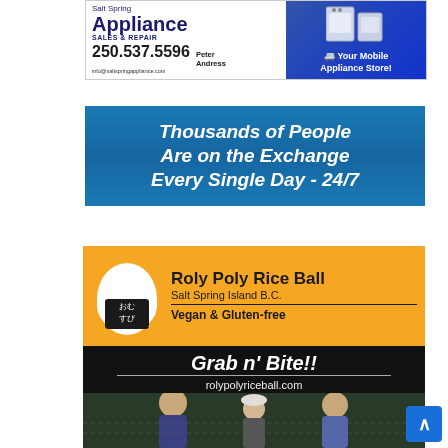[Figure (illustration): Salt Spring Appliance Sales & Repair advertisement. Phone: 250.537.5596, info@saltspringappliance.com. Contact: Peter Andress. Your Mobile Appliance Store! With appliance images on blue background.]
[Figure (illustration): Banner ad with water/ocean background: 'Thousands of People Are on the Exchange Every Single Day - 24/7']
[Figure (illustration): Roly Poly Rice Ball advertisement. Salt Spring Island B.C. Vegan & Gluten-free. Grab n' Bite!! rolypolyriceball.com. Features onigiri logo and photo of children.]